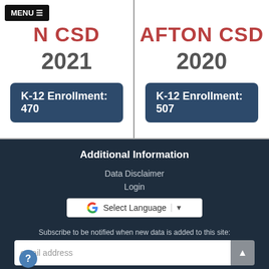MENU
AFTON CSD 2021
K-12 Enrollment: 470
AFTON CSD 2020
K-12 Enrollment: 507
Additional Information
Data Disclaimer
Login
[Figure (other): Google Translate widget with 'Select Language' dropdown]
Subscribe to be notified when new data is added to this site:
email address